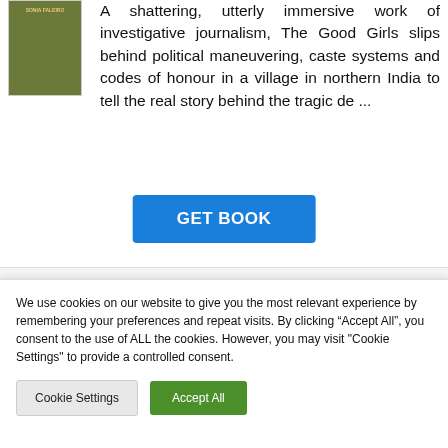[Figure (illustration): Book cover thumbnail for 'The Good Girls' by Sonia Faleiro, showing a small image with dark green/olive background and author name text]
A shattering, utterly immersive work of investigative journalism, The Good Girls slips behind political maneuvering, caste systems and codes of honour in a village in northern India to tell the real story behind the tragic de ...
GET BOOK
We use cookies on our website to give you the most relevant experience by remembering your preferences and repeat visits. By clicking “Accept All”, you consent to the use of ALL the cookies. However, you may visit "Cookie Settings" to provide a controlled consent.
Cookie Settings
Accept All